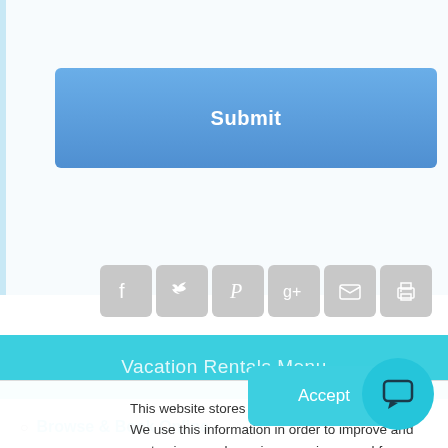[Figure (screenshot): Blue Submit button with rounded corners on light blue background]
[Figure (screenshot): Row of 6 social media icon buttons (Facebook, Twitter, Pinterest, Google+, Email, Print) in gray rounded squares]
Vacation Rentals Menu
Browse & Book Online
This website stores cookies on your computer. We use this information in order to improve and customize your browsing experience and for analytics and metrics about our visitors both on this website and other media. To find out more about the cookies we use, see our Privacy Policy.
[Figure (screenshot): Teal Accept button for cookie consent]
[Figure (screenshot): Teal circular chat bubble button in bottom right corner]